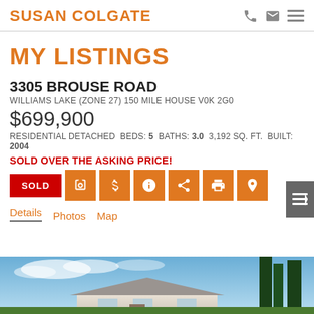SUSAN COLGATE
MY LISTINGS
3305 BROUSE ROAD
WILLIAMS LAKE (ZONE 27) 150 MILE HOUSE V0K 2G0
$699,900
RESIDENTIAL DETACHED BEDS: 5 BATHS: 3.0 3,192 SQ. FT. BUILT: 2004
SOLD OVER THE ASKING PRICE!
[Figure (infographic): Row of action buttons: red SOLD badge, then orange icons for camera, dollar, info, share, print, location]
Details  Photos  Map
[Figure (photo): Exterior photo of house with blue sky and trees in background]